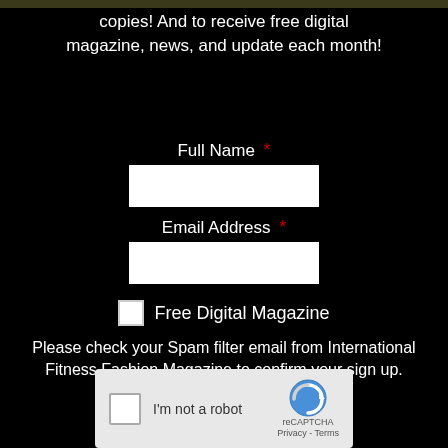copies!  And to receive free digital magazine, news, and update each month!
Full Name *
Email Address *
Free Digital Magazine
Please check your Spam filter email from International Fitness Fashion Magazine to confirm your sign up. Thank you. *
[Figure (other): reCAPTCHA widget with checkbox labeled I'm not a robot, reCAPTCHA logo, Privacy and Terms links]